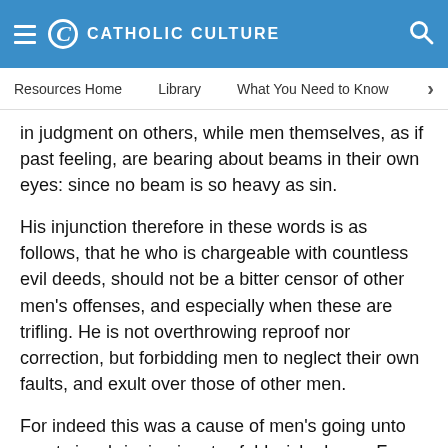CATHOLIC CULTURE
Resources Home   Library   What You Need to Know
in judgment on others, while men themselves, as if past feeling, are bearing about beams in their own eyes: since no beam is so heavy as sin.
His injunction therefore in these words is as follows, that he who is chargeable with countless evil deeds, should not be a bitter censor of other men's offenses, and especially when these are trifling. He is not overthrowing reproof nor correction, but forbidding men to neglect their own faults, and exult over those of other men.
For indeed this was a cause of men's going unto great vice, bringing in a twofold wickedness. For he, whose practice it had been to slight his own faults, great as they were, and to search bitterly into those of others,